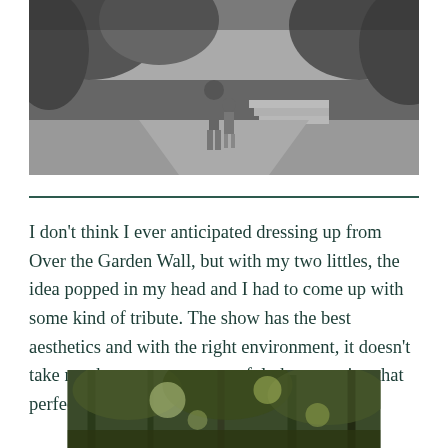[Figure (photo): Black and white outdoor photo showing two children walking on a path through a wooded area with steps visible in the background.]
I don't think I ever anticipated dressing up from Over the Garden Wall, but with my two littles, the idea popped in my head and I had to come up with some kind of tribute. The show has the best aesthetics and with the right environment, it doesn't take much to set up a successful photo session that perfectly captures the mood.
[Figure (photo): Color outdoor photo showing a wooded forest area with sunlight filtering through trees.]